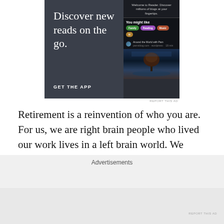[Figure (screenshot): Advertisement banner for a blog reader app. Dark gray/slate background on left with white text 'Discover new reads on the go.' and 'GET THE APP' call to action. Right side shows app interface screenshot with 'Welcome to Reader. Discover millions of blogs at your fingertips.' text, tag pills (Family, Reading, Music), a blog entry 'Around the World with Pam', and a scenic tree/water image.]
REPORT THIS AD
Retirement is a reinvention of who you are. For us, we are right brain people who lived our work lives in a left brain world. We wanted to explore different art mediums in retirement but held ourselves back. You know, the old fear of failure specter. What if I can't draw? Can't paint? Can't carve? What if I produce ugly stuff nobody likes? Scary as
Advertisements